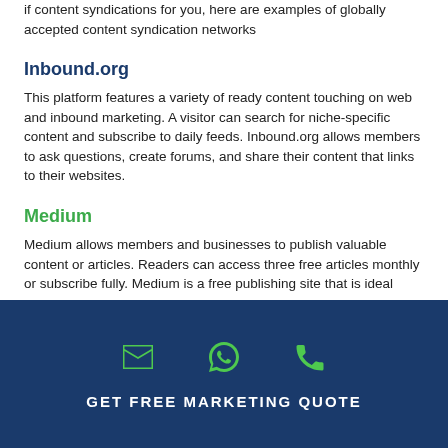if content syndications for you, here are examples of globally accepted content syndication networks
Inbound.org
This platform features a variety of ready content touching on web and inbound marketing. A visitor can search for niche-specific content and subscribe to daily feeds. Inbound.org allows members to ask questions, create forums, and share their content that links to their websites.
Medium
Medium allows members and businesses to publish valuable content or articles. Readers can access three free articles monthly or subscribe fully. Medium is a free publishing site that is ideal
GET FREE MARKETING QUOTE